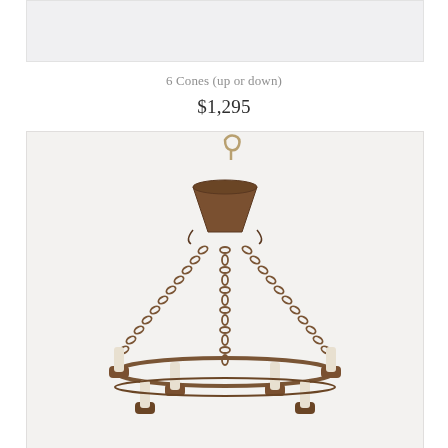[Figure (photo): Top portion of a chandelier product photo, cropped, showing light gray background]
6 Cones (up or down)
$1,295
[Figure (photo): Antique wrought iron chandelier with 6 candle arms and chain suspension, shown against a light gray background. The top canopy is a rusty cone shape with a hook, three chains descend to a circular ring holding 6 candle sockets with white candle sleeves.]